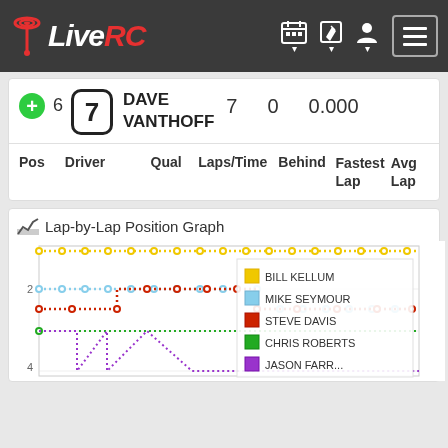LiveRC navigation bar
| Pos | Driver | Qual | Laps/Time | Behind | Fastest Lap | Avg Lap |
| --- | --- | --- | --- | --- | --- | --- |
| 6 | 7 DAVE VANTHOFF | 7 | 0 | 0.000 |  |  |
Lap-by-Lap Position Graph
[Figure (line-chart): Line chart showing position by lap for multiple drivers: BILL KELLUM (yellow, position 1), MIKE SEYMOUR (light blue, position 2), STEVE DAVIS (red, position 2-3), CHRIS ROBERTS (green), and another driver (purple). Y-axis shows positions 2 and 4 visible.]